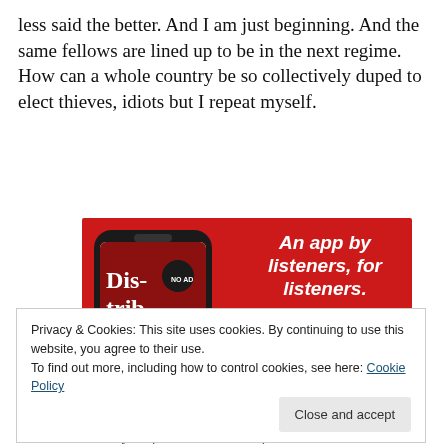less said the better. And I am just beginning. And the same fellows are lined up to be in the next regime. How can a whole country be so collectively duped to elect thieves, idiots but I repeat myself.
[Figure (illustration): Advertisement banner on red background showing a smartphone displaying a podcast app called 'Distributed' with text 'An app by listeners, for listeners.' and a 'Download now' button]
Privacy & Cookies: This site uses cookies. By continuing to use this website, you agree to their use.
To find out more, including how to control cookies, see here: Cookie Policy
In the same essay, defense, he notes, of the Batista